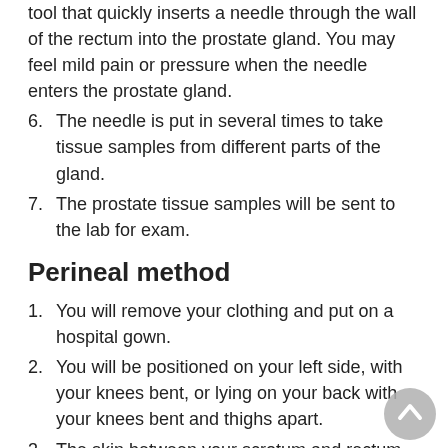tool that quickly inserts a needle through the wall of the rectum into the prostate gland. You may feel mild pain or pressure when the needle enters the prostate gland.
6. The needle is put in several times to take tissue samples from different parts of the gland.
7. The prostate tissue samples will be sent to the lab for exam.
Perineal method
1. You will remove your clothing and put on a hospital gown.
2. You will be positioned on your left side, with your knees bent, or lying on your back with your knees bent and thighs apart.
3. The skin between your scrotum and rectum will be cleaned with an antiseptic solution.